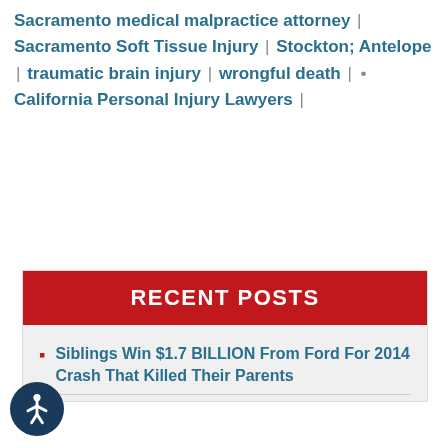Sacramento medical malpractice attorney | Sacramento Soft Tissue Injury | Stockton; Antelope | traumatic brain injury | wrongful death | • California Personal Injury Lawyers |
RECENT POSTS
Siblings Win $1.7 BILLION From Ford For 2014 Crash That Killed Their Parents